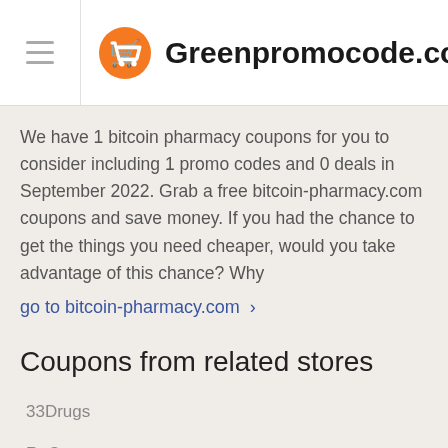Greenpromocode.com
We have 1 bitcoin pharmacy coupons for you to consider including 1 promo codes and 0 deals in September 2022. Grab a free bitcoin-pharmacy.com coupons and save money. If you had the chance to get the things you need cheaper, would you take advantage of this chance? Why
go to bitcoin-pharmacy.com >
Coupons from related stores
33Drugs
ReCustomer